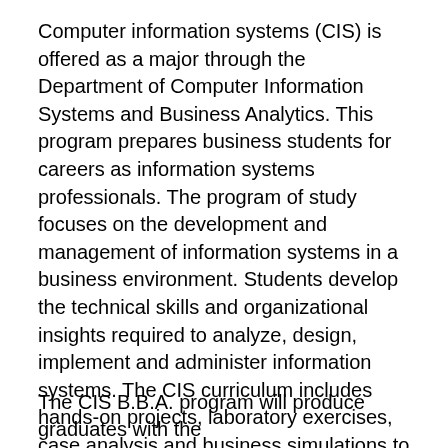Computer information systems (CIS) is offered as a major through the Department of Computer Information Systems and Business Analytics. This program prepares business students for careers as information systems professionals. The program of study focuses on the development and management of information systems in a business environment. Students develop the technical skills and organizational insights required to analyze, design, implement and administer information systems. The CIS curriculum includes hands-on projects, laboratory exercises, case analysis and business simulations to build strong technical and analytical skills, effective oral and written communication skills, and the ability to work independently and in team-oriented environments. Students are offered the opportunity to gain practical experience through internships and co-op programs. The department faculty endorses the program educational objectives listed below.
The CIS B.B.A. program will produce graduates with the...